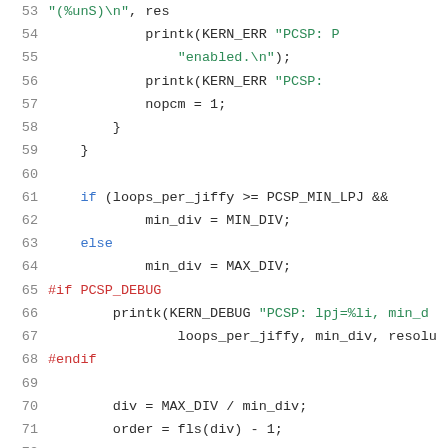[Figure (screenshot): Source code listing lines 53-73 showing C code with syntax highlighting. Line numbers in gray on left, preprocessor directives in red, keywords in blue, string literals in green, and regular code in dark color.]